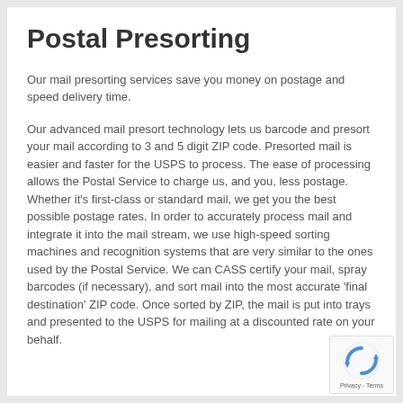Postal Presorting
Our mail presorting services save you money on postage and speed delivery time.
Our advanced mail presort technology lets us barcode and presort your mail according to 3 and 5 digit ZIP code. Presorted mail is easier and faster for the USPS to process. The ease of processing allows the Postal Service to charge us, and you, less postage. Whether it's first-class or standard mail, we get you the best possible postage rates. In order to accurately process mail and integrate it into the mail stream, we use high-speed sorting machines and recognition systems that are very similar to the ones used by the Postal Service. We can CASS certify your mail, spray barcodes (if necessary), and sort mail into the most accurate 'final destination' ZIP code. Once sorted by ZIP, the mail is put into trays and presented to the USPS for mailing at a discounted rate on your behalf.
[Figure (logo): reCAPTCHA badge with spinning arrows icon and Privacy - Terms text]